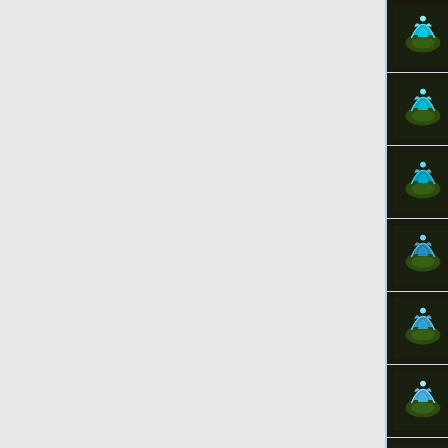T8 - Eastemnet Prospector Re...
T9 - Westemnet Prospector Re...
T10 - Anórien Prospector Reci...
T11 - Doomfold Prospector Re...
T12 - Ironfold Prospector Reci...
T13 - Minas Ithil Prospector R...
T14 - Gundabad Prospector R...
A complete list of Prospector recipes listed alphabetically:
Prospector Recipes
An index of items that can be crafted using Prospector recipes
Prospector Items